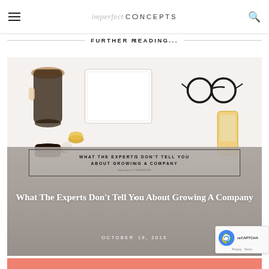imperfect CONCEPTS
FURTHER READING...
[Figure (photo): Flat lay desk scene with coffee pot, coffee cup, notebook, glasses, phone, and macaron on white background. Overlaid with article title box and gradient overlay.]
What The Experts Don't Tell You About Growing A Company
OCTOBER 19, 2015